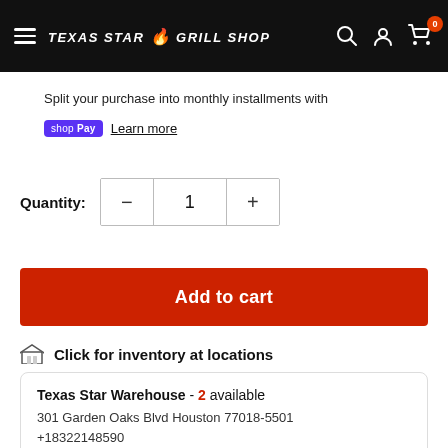Texas Star Grill Shop
Split your purchase into monthly installments with shop Pay Learn more
Quantity: 1
Add to cart
Click for inventory at locations
Texas Star Warehouse - 2 available
301 Garden Oaks Blvd Houston 77018-5501
+18322148590